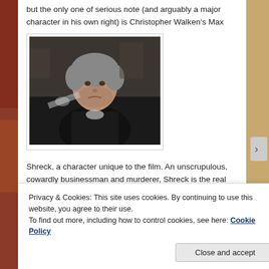but the only one of serious note (and arguably a major character in his own right) is Christopher Walken's Max
[Figure (photo): A still from a film showing an older man with grey hair, scruffy appearance, holding something, in a dark setting.]
Shreck, a character unique to the film. An unscrupulous, cowardly businessman and murderer, Shreck is the real villain of the story. In fact, his various plots account for the majority of the conflict in the movie. (On a side note, is the actor playing Shreck's son purposely mimicking Walken's
Privacy & Cookies: This site uses cookies. By continuing to use this website, you agree to their use.
To find out more, including how to control cookies, see here: Cookie Policy